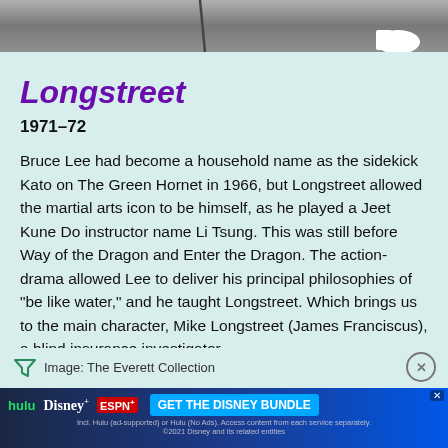[Figure (photo): Black and white photo strip showing feet/shoes at bottom, partial background scene]
Longstreet
1971–72
Bruce Lee had become a household name as the sidekick Kato on The Green Hornet in 1966, but Longstreet allowed the martial arts icon to be himself, as he played a Jeet Kune Do instructor name Li Tsung. This was still before Way of the Dragon and Enter the Dragon. The action-drama allowed Lee to deliver his principal philosophies of "be like water," and he taught Longstreet. Which brings us to the main character, Mike Longstreet (James Franciscus), a blind insurance investigator.
Image: The Everett Collection
[Figure (infographic): Hulu Disney+ ESPN+ advertisement banner: GET THE DISNEY BUNDLE. Incl. Hulu (ad-supported) or Hulu (No Ads). Access content from each service separately. ©2021 Disney and its related entities]